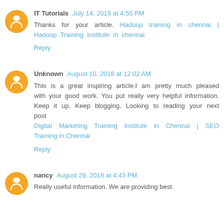IT Tutorials July 14, 2018 at 4:55 PM
Thanks for your article. Hadoop training in chennai | Hadoop Training institute in chennai
Reply
Unknown August 10, 2018 at 12:02 AM
This is a great inspiring article.I am pretty much pleased with your good work. You put really very helpful information. Keep it up. Keep blogging. Looking to reading your next post
Digital Marketing Training Institute in Chennai | SEO Training in Chennai
Reply
nancy August 29, 2018 at 4:43 PM
Really useful information. We are providing best.